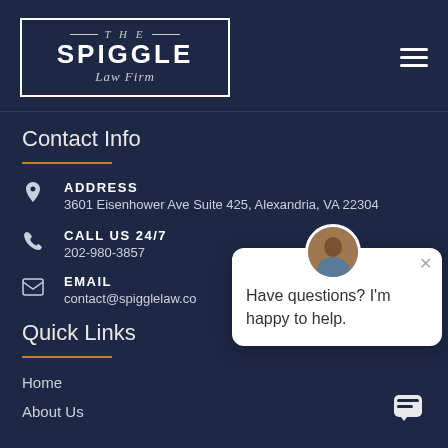[Figure (logo): The Spiggle Law Firm logo - white text on dark navy background with rectangular border]
Contact Info
ADDRESS
3601 Eisenhower Ave Suite 425, Alexandria, VA 22304
CALL US 24/7
202-980-3857
EMAIL
contact@spigglelaw.co
Quick Links
Home
About Us
[Figure (illustration): Chat widget popup with avatar photo, close button, and text: Have questions? I'm happy to help.]
[Figure (illustration): Chat bubble button icon at bottom right]